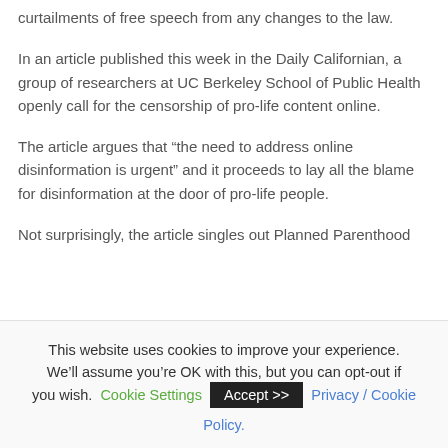curtailments of free speech from any changes to the law.
In an article published this week in the Daily Californian, a group of researchers at UC Berkeley School of Public Health openly call for the censorship of pro-life content online.
The article argues that “the need to address online disinformation is urgent” and it proceeds to lay all the blame for disinformation at the door of pro-life people.
Not surprisingly, the article singles out Planned Parenthood
This website uses cookies to improve your experience. We’ll assume you’re OK with this, but you can opt-out if you wish. Cookie Settings  Accept >>  Privacy / Cookie Policy.